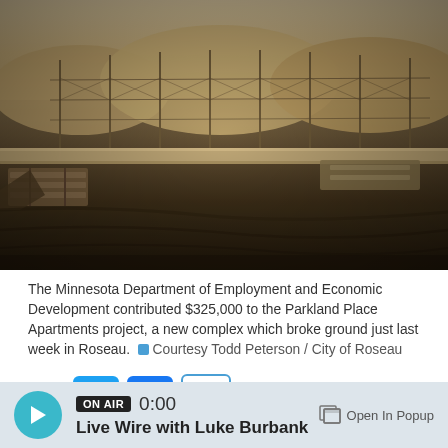[Figure (photo): Construction site showing excavated ground with mounds of dirt, fence posts, lumber/planks, and heavy equipment debris in a sepia-toned black and white photograph. Site appears to be early-stage groundbreaking for Parkland Place Apartments in Roseau.]
The Minnesota Department of Employment and Economic Development contributed $325,000 to the Parkland Place Apartments project, a new complex which broke ground just last week in Roseau.  Courtesy Todd Peterson / City of Roseau
Share
ON AIR  0:00
Live Wire with Luke Burbank
Open In Popup